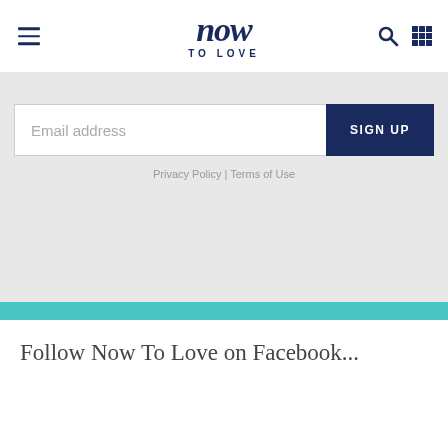Now To Love
Email address
SIGN UP
Privacy Policy | Terms of Use
Follow Now To Love on Facebook...